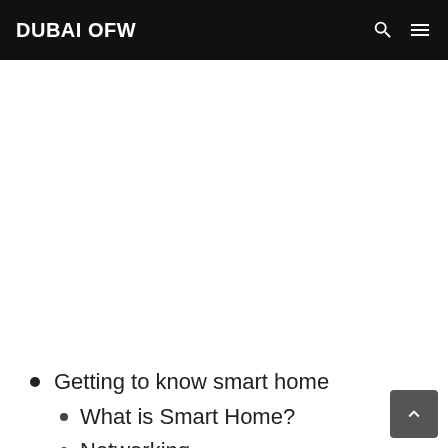DUBAI OFW
[Figure (other): Advertisement or blank content area below the navigation header]
Getting to know smart home
What is Smart Home?
Networking